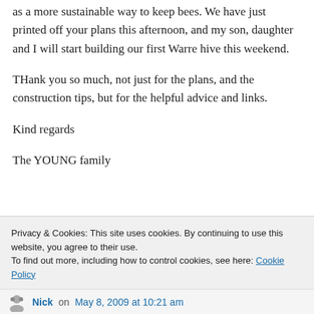as a more sustainable way to keep bees. We have just printed off your plans this afternoon, and my son, daughter and I will start building our first Warre hive this weekend.
THank you so much, not just for the plans, and the construction tips, but for the helpful advice and links.
Kind regards
The YOUNG family
Privacy & Cookies: This site uses cookies. By continuing to use this website, you agree to their use.
To find out more, including how to control cookies, see here: Cookie Policy
Close and accept
Nick on May 8, 2009 at 10:21 am